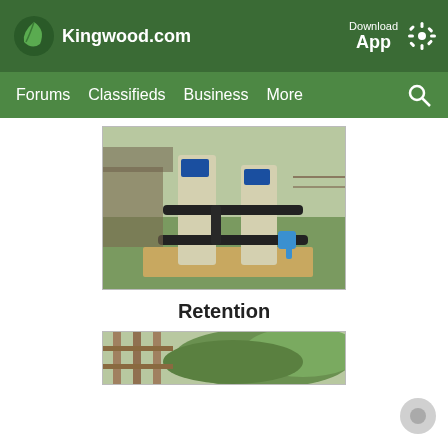Kingwood.com
Download App
Forums  Classifieds  Business  More
[Figure (photo): Outdoor water filtration or retention tanks with black pipes and blue valve fittings, mounted on a wooden platform in a grassy area with a fence and building in background.]
Retention
[Figure (photo): Partial view of wooden fence with dense green leafy shrubs or trees behind it.]